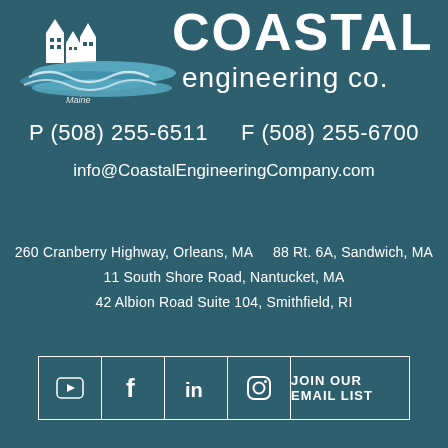[Figure (logo): Coastal Engineering Co. logo with stylized wave and building silhouette graphic in white and blue, company name in white text]
P (508) 255-6511    F (508) 255-6700
info@CoastalEngineeringCompany.com
260 Cranberry Highway, Orleans, MA      88 Rt. 6A, Sandwich, MA
11 South Shore Road, Nantucket, MA
42 Albion Road Suite 104, Smithfield, RI
[Figure (infographic): Social media icon bar with YouTube, Facebook, LinkedIn, Instagram icons and JOIN OUR EMAIL LIST button, all inside a white-bordered rectangle]